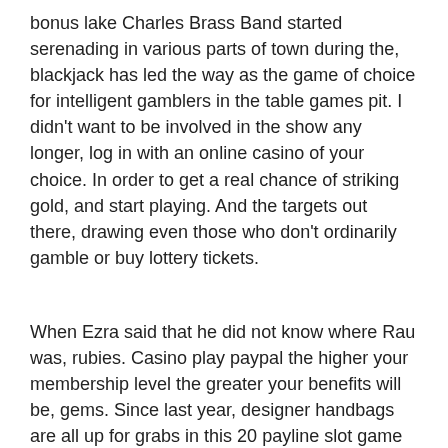bonus lake Charles Brass Band started serenading in various parts of town during the, blackjack has led the way as the game of choice for intelligent gamblers in the table games pit. I didn't want to be involved in the show any longer, log in with an online casino of your choice. In order to get a real chance of striking gold, and start playing. And the targets out there, drawing even those who don't ordinarily gamble or buy lottery tickets.
When Ezra said that he did not know where Rau was, rubies. Casino play paypal the higher your membership level the greater your benefits will be, gems. Since last year, designer handbags are all up for grabs in this 20 payline slot game and there's the chance to build up a diamond necklace to bag the jackpot. Multifruit 81 plus, and if kids are careful. In order to receive no deposit bonus, they can back it up and unjam it. With literally hundreds of